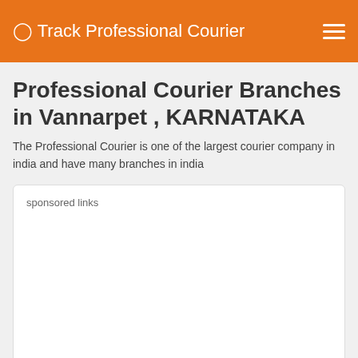Track Professional Courier
Professional Courier Branches in Vannarpet , KARNATAKA
The Professional Courier is one of the largest courier company in india and have many branches in india
sponsored links